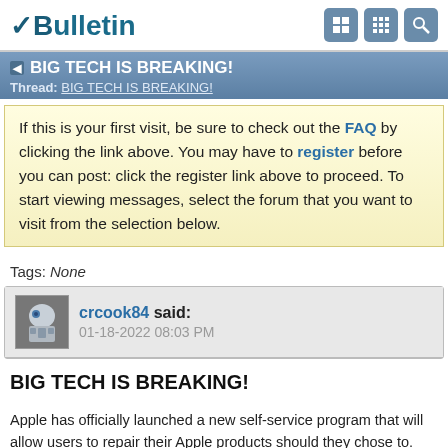vBulletin
BIG TECH IS BREAKING! Thread: BIG TECH IS BREAKING!
If this is your first visit, be sure to check out the FAQ by clicking the link above. You may have to register before you can post: click the register link above to proceed. To start viewing messages, select the forum that you want to visit from the selection below.
Tags: None
crcook84 said: 01-18-2022 08:03 PM
BIG TECH IS BREAKING!
Apple has officially launched a new self-service program that will allow users to repair their Apple products should they chose to. The significance of this is the fact that the FTC under Joe Biden (believe me, I don't like eating crow...